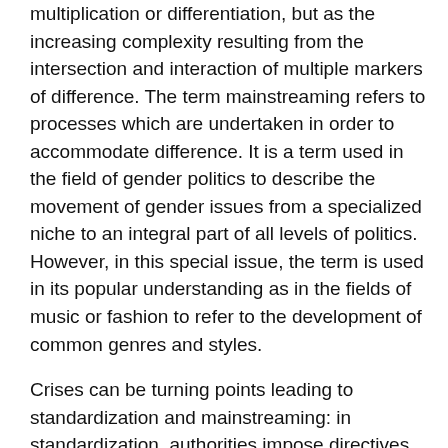multiplication or differentiation, but as the increasing complexity resulting from the intersection and interaction of multiple markers of difference. The term mainstreaming refers to processes which are undertaken in order to accommodate difference. It is a term used in the field of gender politics to describe the movement of gender issues from a specialized niche to an integral part of all levels of politics. However, in this special issue, the term is used in its popular understanding as in the fields of music or fashion to refer to the development of common genres and styles.
Crises can be turning points leading to standardization and mainstreaming: in standardization, authorities impose directives and controls to curb and dissolve the crisis; in the case of mainstreaming, different interest groups and individuals try to make sense of the crisis by reconciling the different interpretations made of it. In this struggle to